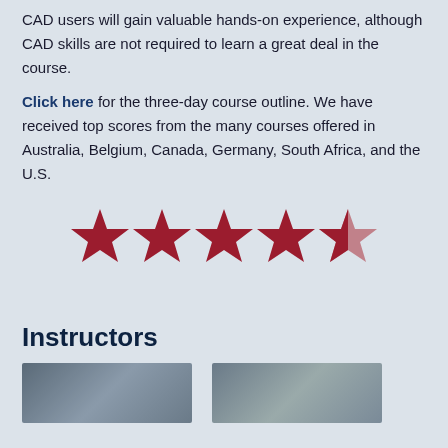CAD users will gain valuable hands-on experience, although CAD skills are not required to learn a great deal in the course.
Click here for the three-day course outline. We have received top scores from the many courses offered in Australia, Belgium, Canada, Germany, South Africa, and the U.S.
[Figure (other): Five-star rating graphic showing four full dark red stars and one partially filled (lighter) dark red star]
Instructors
[Figure (photo): Two instructor portrait photos side by side, partially visible at bottom of page]